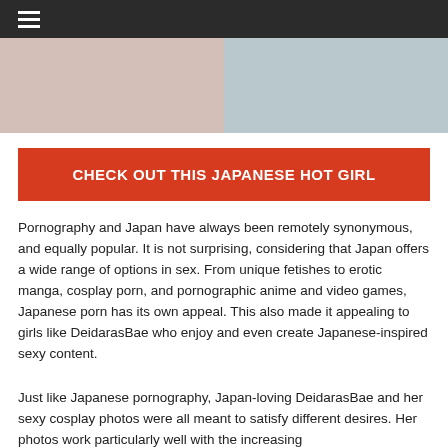≡
[Figure (photo): Two cropped photos side by side showing partial body images]
CHECK OUT THIS JAPANESE HOT GIRL
Pornography and Japan have always been remotely synonymous, and equally popular. It is not surprising, considering that Japan offers a wide range of options in sex. From unique fetishes to erotic manga, cosplay porn, and pornographic anime and video games, Japanese porn has its own appeal. This also made it appealing to girls like DeidarasBae who enjoy and even create Japanese-inspired sexy content.
Just like Japanese pornography, Japan-loving DeidarasBae and her sexy cosplay photos were all meant to satisfy different desires. Her photos work particularly well with the increasing